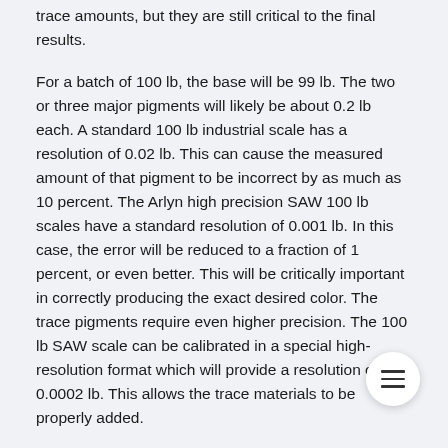trace amounts, but they are still critical to the final results.
For a batch of 100 lb, the base will be 99 lb. The two or three major pigments will likely be about 0.2 lb each. A standard 100 lb industrial scale has a resolution of 0.02 lb. This can cause the measured amount of that pigment to be incorrect by as much as 10 percent. The Arlyn high precision SAW 100 lb scales have a standard resolution of 0.001 lb. In this case, the error will be reduced to a fraction of 1 percent, or even better. This will be critically important in correctly producing the exact desired color. The trace pigments require even higher precision. The 100 lb SAW scale can be calibrated in a special high-resolution format which will provide a resolution of 0.0002 lb. This allows the trace materials to be properly added.
High Precision Scales are the tools that make this type